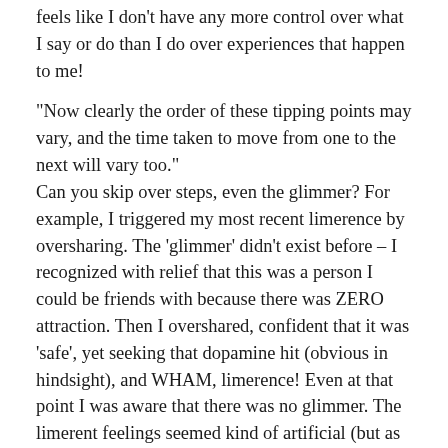feels like I don't have any more control over what I say or do than I do over experiences that happen to me!
“Now clearly the order of these tipping points may vary, and the time taken to move from one to the next will vary too.”
Can you skip over steps, even the glimmer? For example, I triggered my most recent limerence by oversharing. The ‘glimmer’ didn’t exist before – I recognized with relief that this was a person I could be friends with because there was ZERO attraction. Then I overshared, confident that it was ‘safe’, yet seeking that dopamine hit (obvious in hindsight), and WHAM, limerence! Even at that point I was aware that there was no glimmer. The limerent feelings seemed kind of artificial (but as strong and compelling as any other limerence I’ve had).
Lee said, “I will also suggest that the earlier in the